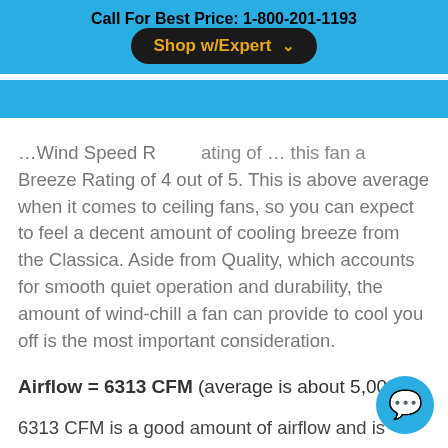Call For Best Price: 1-800-201-1193
...Wind Speed Rating of ... this fan a Breeze Rating of 4 out of 5. This is above average when it comes to ceiling fans, so you can expect to feel a decent amount of cooling breeze from the Classica. Aside from Quality, which accounts for smooth quiet operation and durability, the amount of wind-chill a fan can provide to cool you off is the most important consideration.
Airflow = 6313 CFM (average is about 5,000)
6313 CFM is a good amount of airflow and is above average. We highly recommend ceiling fans that move at least this amount of air in order to provide enough wind chill effect to keep you cool. The Minka Aire Classica in French Beige will allow you to raise your thermostat by several degrees, which will help you save additional money on your cooling bills (if you have AC).